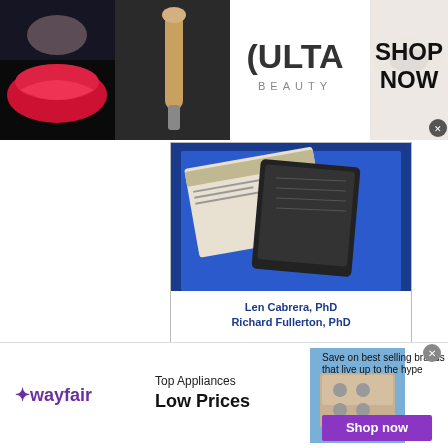[Figure (advertisement): Ulta Beauty banner advertisement showing makeup/beauty imagery with SHOP NOW call to action]
[Figure (photo): Book cover for educational book by Len Cabrera PhD and Richard Fullerton PhD, described as a must-read for every high school and college student]
3 comments
[Figure (advertisement): Wayfair advertisement for Top Appliances at Low Prices with Shop now button and stove image]